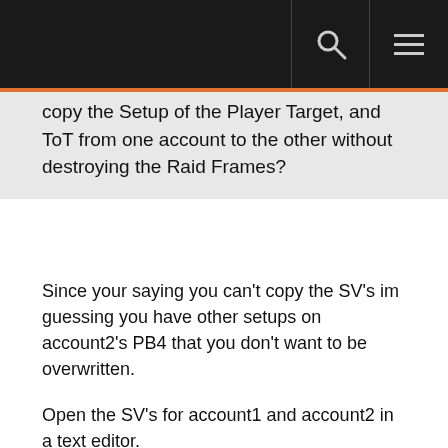copy the Setup of the Player Target, and ToT from one account to the other without destroying the Raid Frames?
Since your saying you can't copy the SV's im guessing you have other setups on account2's PB4 that you don't want to be overwritten.
Open the SV's for account1 and account2 in a text editor.
from here you can manually edit the SV's for acc2 to add the frames from acc1. (MAKE BACKUPS its easy to mess things up in here)
The layout will look something along thye lines of this (this is my target frame layout):